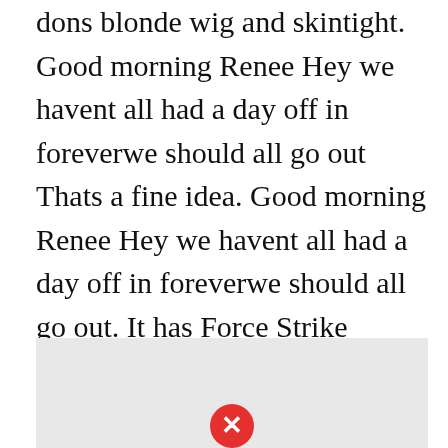dons blonde wig and skintight. Good morning Renee Hey we havent all had a day off in foreverwe should all go out Thats a fine idea. Good morning Renee Hey we havent all had a day off in foreverwe should all go out. It has Force Strike Damage 40 and Force Charge III which charges skills by 25 when force strikes connect. 10 Strength Doublebuff Options.
[Figure (other): Gray box with a red circle X icon at the bottom center, partially visible at the bottom of the page.]